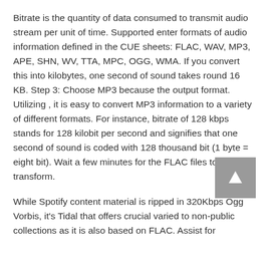Bitrate is the quantity of data consumed to transmit audio stream per unit of time. Supported enter formats of audio information defined in the CUE sheets: FLAC, WAV, MP3, APE, SHN, WV, TTA, MPC, OGG, WMA. If you convert this into kilobytes, one second of sound takes round 16 KB. Step 3: Choose MP3 because the output format. Utilizing , it is easy to convert MP3 information to a variety of different formats. For instance, bitrate of 128 kbps stands for 128 kilobit per second and signifies that one second of sound is coded with 128 thousand bit (1 byte = eight bit). Wait a few minutes for the FLAC files to transform.
While Spotify content material is ripped in 320Kbps Ogg Vorbis, it's Tidal that offers crucial varied to non-public collections as it is also based on FLAC. Assist for